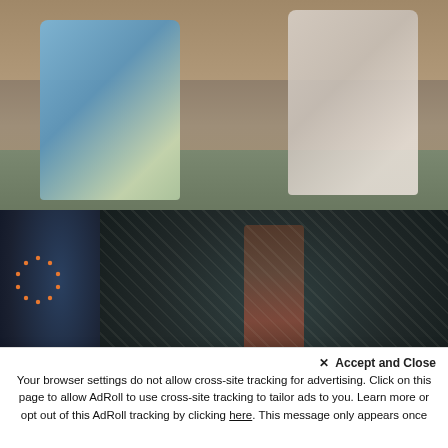[Figure (photo): Two women in traditional Japanese kimono garments kneeling on a tatami floor in a traditional Japanese room]
[Figure (photo): Left panel: Person wearing a Reuters vest with logo visible. Text 'Solutions' at bottom left.]
[Figure (photo): Right panel: A person standing amid a swarm of locusts in a field. Text 'Reuters Plus' at bottom right.]
× Accept and Close
Your browser settings do not allow cross-site tracking for advertising. Click on this page to allow AdRoll to use cross-site tracking to tailor ads to you. Learn more or opt out of this AdRoll tracking by clicking here. This message only appears once